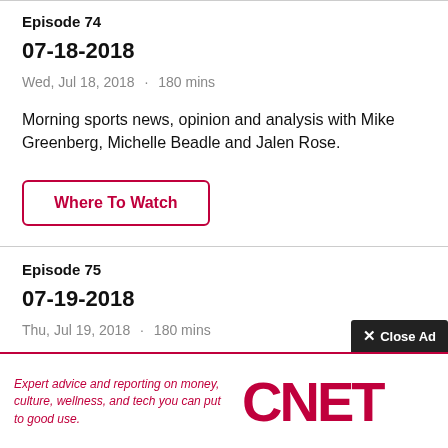Episode 74
07-18-2018
Wed, Jul 18, 2018  ·  180 mins
Morning sports news, opinion and analysis with Mike Greenberg, Michelle Beadle and Jalen Rose.
Where To Watch
Episode 75
07-19-2018
Thu, Jul 19, 2018  ·  180 mins
Morning sports news, opinion and analysis with Mike Greenberg, Michelle Beadle and Jalen Rose.
[Figure (infographic): CNET advertisement overlay with close ad button, CNET logo, and tagline: Expert advice and reporting on money, culture, wellness, and tech you can put to good use.]